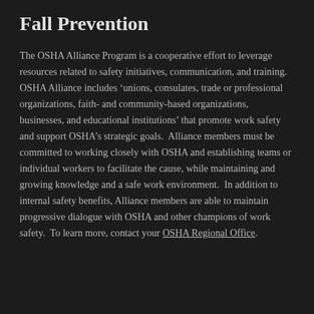Fall Prevention
The OSHA Alliance Program is a cooperative effort to leverage resources related to safety initiatives, communication, and training.  OSHA Alliance includes ‘unions, consulates, trade or professional organizations, faith- and community-based organizations, businesses, and educational institutions’ that promote work safety and support OSHA’s strategic goals.  Alliance members must be committed to working closely with OSHA and establishing teams or individual workers to facilitate the cause, while maintaining and growing knowledge and a safe work environment.  In addition to internal safety benefits, Alliance members are able to maintain progressive dialogue with OSHA and other champions of work safety.  To learn more, contact your OSHA Regional Office.